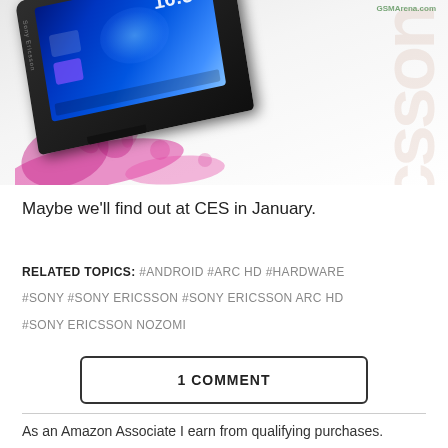[Figure (photo): Sony Ericsson smartphone (Nozomi/Arc HD) photographed at an angle showing the screen displaying time 16:58 with blue UI, against a white background with pink paint splash design and faded 'Ericsson' text. GSMArena.com watermark visible.]
Maybe we'll find out at CES in January.
RELATED TOPICS: #ANDROID #ARC HD #HARDWARE #SONY #SONY ERICSSON #SONY ERICSSON ARC HD #SONY ERICSSON NOZOMI
1 COMMENT
As an Amazon Associate I earn from qualifying purchases.